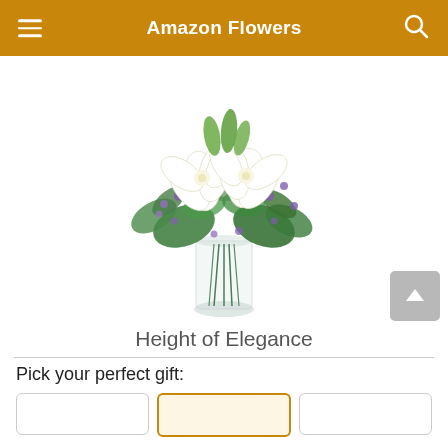Amazon Flowers
[Figure (photo): A floral arrangement called 'Height of Elegance' featuring white oriental lilies, purple filler flowers (limonium or salvia), and lush green foliage in a clear glass cylinder vase, displayed on a white background.]
Height of Elegance
Pick your perfect gift: